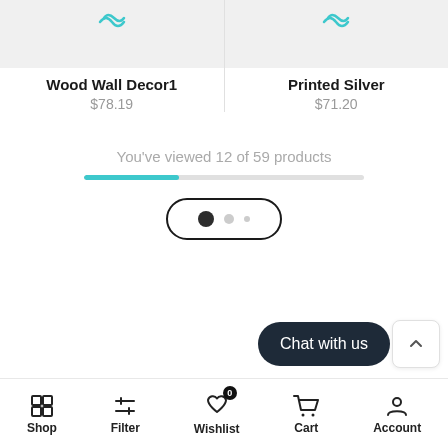[Figure (screenshot): Product card for Wood Wall Decor1 showing a placeholder image with a refresh/loop icon]
Wood Wall Decor1
$78.19
[Figure (screenshot): Product card for Printed Silver showing a placeholder image with a refresh/loop icon]
Printed Silver
$71.20
You've viewed 12 of 59 products
[Figure (infographic): Progress bar showing approximately 34% filled in teal color]
[Figure (infographic): Pagination pill with 3 dots: one large dark, one medium grey, one small grey]
Chat with us
Shop  Filter  Wishlist 0  Cart  Account